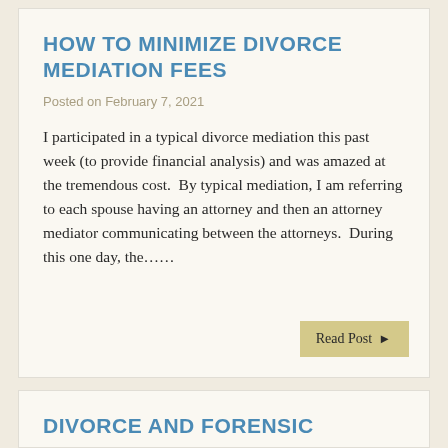HOW TO MINIMIZE DIVORCE MEDIATION FEES
Posted on February 7, 2021
I participated in a typical divorce mediation this past week (to provide financial analysis) and was amazed at the tremendous cost. By typical mediation, I am referring to each spouse having an attorney and then an attorney mediator communicating between the attorneys. During this one day, the……
DIVORCE AND FORENSIC